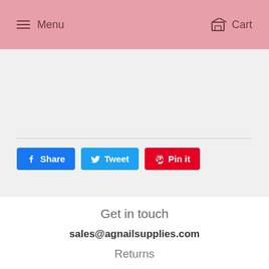Menu   Cart
[Figure (screenshot): Gray section with horizontal divider and social sharing buttons: Share (Facebook), Tweet (Twitter), Pin it (Pinterest)]
Get in touch
sales@agnailsupplies.com
Returns
All sales are final. No returns no exchanges. We are not responsible for lost, stolen or damaged packages. If package is